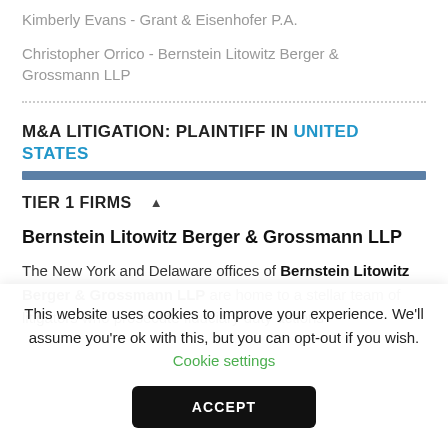Kimberly Evans - Grant & Eisenhofer P.A.
Christopher Orrico - Bernstein Litowitz Berger & Grossmann LLP
M&A LITIGATION: PLAINTIFF IN UNITED STATES
TIER 1 FIRMS
Bernstein Litowitz Berger & Grossmann LLP
The New York and Delaware offices of Bernstein Litowitz Berger & Grossmann LLP are home to a stellar team of litigators who prosecute fiduciary duty actions
This website uses cookies to improve your experience. We'll assume you're ok with this, but you can opt-out if you wish. Cookie settings
ACCEPT